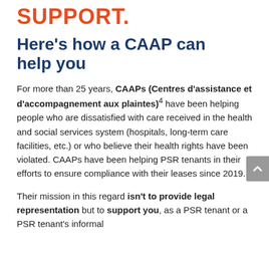SUPPORT.
Here's how a CAAP can help you
For more than 25 years, CAAPs (Centres d'assistance et d'accompagnement aux plaintes)⁴ have been helping people who are dissatisfied with care received in the health and social services system (hospitals, long-term care facilities, etc.) or who believe their health rights have been violated. CAAPs have been helping PSR tenants in their efforts to ensure compliance with their leases since 2019.
Their mission in this regard isn't to provide legal representation but to support you, as a PSR tenant or a PSR tenant's informal